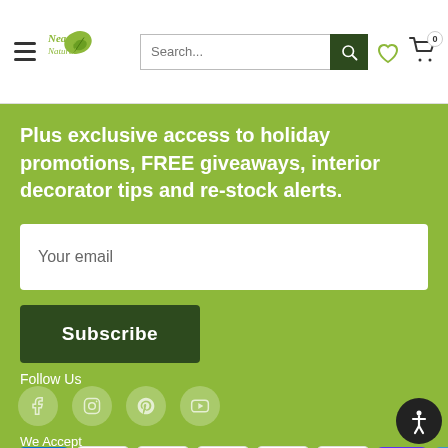Nearly Natural — navigation header with search, wishlist, and cart
Plus exclusive access to holiday promotions, FREE giveaways, interior decorator tips and re-stock alerts.
Your email
Subscribe
Follow Us
[Figure (illustration): Social media icons: Facebook, Instagram, Pinterest, YouTube in muted circles]
We Accept
[Figure (illustration): Payment method icons: Amex, Apple Pay, Discover, Google Pay, Mastercard, PayPal, ShopPay, Venmo]